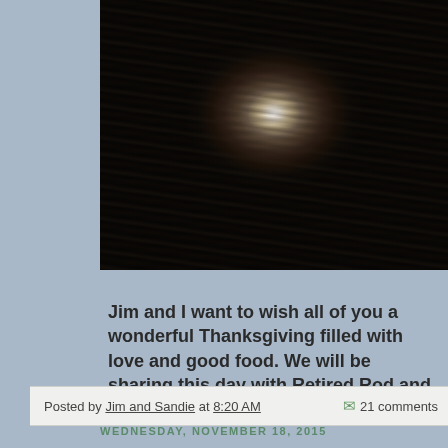[Figure (photo): Night sky photo showing the moon partially obscured by clouds, creating a glowing halo effect against a dark textured sky]
Jim and I want to wish all of you a wonderful Thanksgiving filled with love and good food. We will be sharing this day with Retired Rod and creating more wonderful memories.
Posted by Jim and Sandie at 8:20 AM   21 comments
WEDNESDAY, NOVEMBER 18, 2015